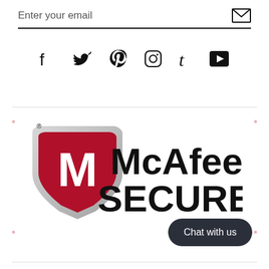Enter your email
[Figure (infographic): Social media icons row: Facebook, Twitter, Pinterest, Instagram, Tumblr, YouTube]
[Figure (logo): McAfee SECURE logo with red shield bearing white M and McAfee SECURE text]
Chat with us